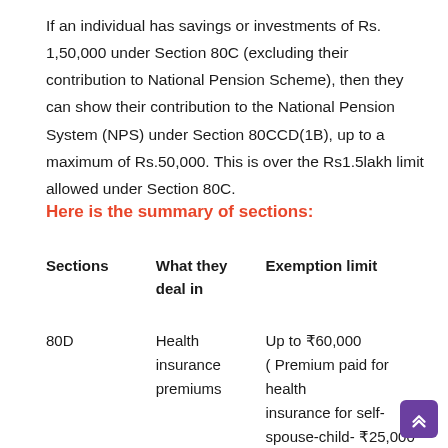If an individual has savings or investments of Rs. 1,50,000 under Section 80C (excluding their contribution to National Pension Scheme), then they can show their contribution to the National Pension System (NPS) under Section 80CCD(1B), up to a maximum of Rs.50,000. This is over the Rs1.5lakh limit allowed under Section 80C.
Here is the summary of sections:
| Sections | What they deal in | Exemption limit |
| --- | --- | --- |
| 80D | Health insurance premiums | Up to ₹60,000 ( Premium paid for health insurance for self-spouse-child- ₹25,000 Senior citizen parents c |